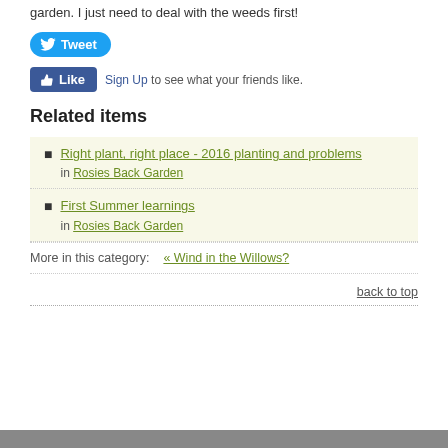garden. I just need to deal with the weeds first!
[Figure (other): Social sharing buttons: a blue Tweet button and a blue Like button with Sign Up link text]
Related items
Right plant, right place - 2016 planting and problems
in Rosies Back Garden
First Summer learnings
in Rosies Back Garden
More in this category:   « Wind in the Willows?
back to top